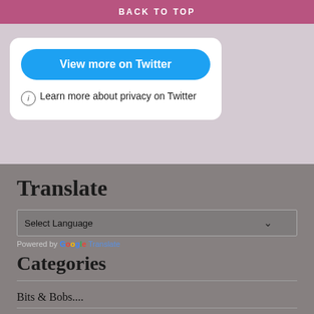BACK TO TOP
[Figure (screenshot): A Twitter widget card with a blue 'View more on Twitter' button and a privacy info link below it.]
Translate
Select Language
Powered by Google Translate
Categories
Bits & Bobs....
British History